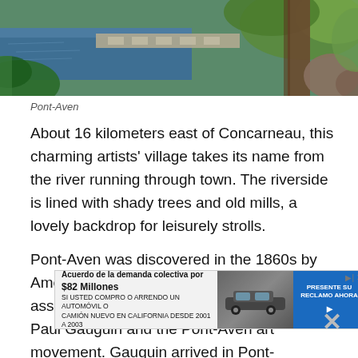[Figure (photo): Photograph of a riverside scene in Pont-Aven showing water, stone path, trees, and lush vegetation]
Pont-Aven
About 16 kilometers east of Concarneau, this charming artists' village takes its name from the river running through town. The riverside is lined with shady trees and old mills, a lovely backdrop for leisurely strolls.
Pont-Aven was discovered in the 1860s by American painters but is most famous for its association with post-Impressionist painter Paul Gauguin and the Pont-Aven art movement. Gauguin arrived in Pont-Aven...
[Figure (other): Advertisement banner: Acuerdo de la demanda colectiva por $82 Millones - SI USTED COMPRO O ARRENDO UN AUTOMOVIL O CAMION NUEVO EN CALIFORNIA DESDE 2001 A 2003 - PRESENTE SU RECLAMO AHORA]